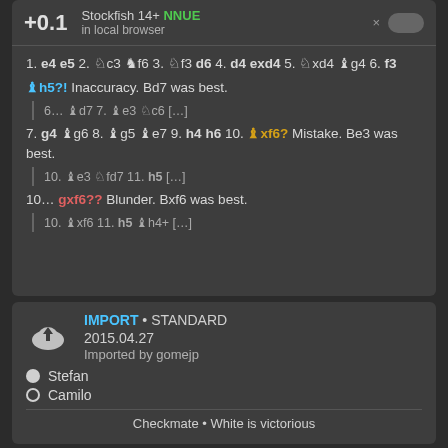+0.1  Stockfish 14+ NNUE  in local browser
1. e4 e5 2. Nc3 Nf6 3. Nf3 d6 4. d4 exd4 5. Nxd4 Bg4 6. f3
Bh5?! Inaccuracy. Bd7 was best.
6... Bd7 7. Be3 Nc6 [...]
7. g4 Bg6 8. Bg5 Be7 9. h4 h6 10. Bxf6? Mistake. Be3 was best.
10. Be3 Nfd7 11. h5 [...]
10... gxf6?? Blunder. Bxf6 was best.
10. Bxf6 11. h5 Bh4+ [...]
IMPORT • STANDARD  2015.04.27  Imported by gomejp
Stefan
Camilo
Checkmate • White is victorious
Stefan  0 inaccuracies  2 mistakes  0 blunders
Camilo  2 inaccuracies  1 mistake  2 blunders